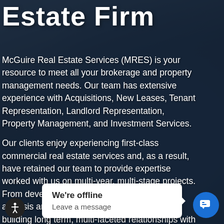Estate Firm
McGuire Real Estate Services (MRES) is your resource to meet all your brokerage and property management needs. Our team has extensive experience with Acquisitions, New Leases, Tenant Representation, Landlord Representation, Property Management, and Investment Services.
Our clients enjoy experiencing first-class commercial real estate services and, as a result, have retained our team to provide expertise worked with us on multi-year, multi-stage projects. From developing comprehensive real estate analysis and long-term real estate planning, to building long term, multi-faceted relationships with our clients to help them achieve their real estate goals is our # 1 priority.
[Figure (screenshot): Chat widget showing 'We're offline / Leave a message' with arrow pointing right and blue chat button]
We're offline
Leave a message